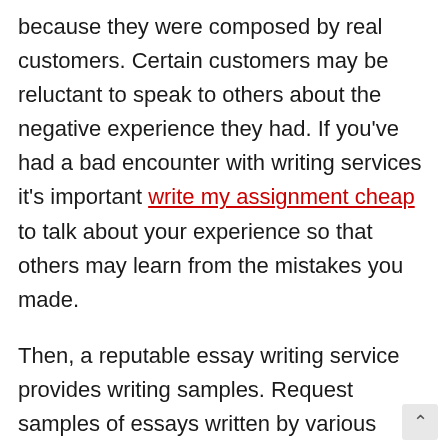because they were composed by real customers. Certain customers may be reluctant to speak to others about the negative experience they had. If you've had a bad encounter with writing services it's important write my assignment cheap to talk about your experience so that others may learn from the mistakes you made.
Then, a reputable essay writing service provides writing samples. Request samples of essays written by various authors before making a final decision. This will allow you to determine the writer who will compose your essay in the most effect